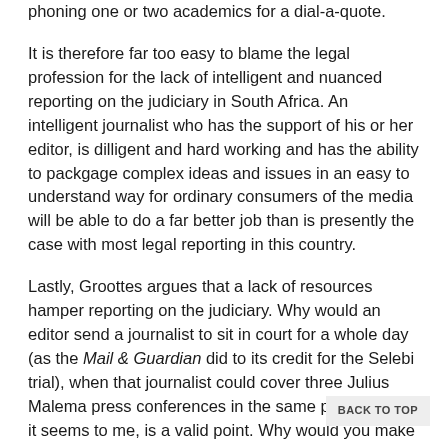phoning one or two academics for a dial-a-quote.
It is therefore far too easy to blame the legal profession for the lack of intelligent and nuanced reporting on the judiciary in South Africa. An intelligent journalist who has the support of his or her editor, is dilligent and hard working and has the ability to packgage complex ideas and issues in an easy to understand way for ordinary consumers of the media will be able to do a far better job than is presently the case with most legal reporting in this country.
Lastly, Groottes argues that a lack of resources hamper reporting on the judiciary. Why would an editor send a journalist to sit in court for a whole day (as the Mail & Guardian did to its credit for the Selebi trial), when that journalist could cover three Julius Malema press conferences in the same period? This, it seems to me, is a valid point. Why would you make a careful study of the work of the judges of the Constitutional Court if you know your editor will give you 300 words to report on a particular case or the appointment of a judge?
Media lawyers often claim that...
BACK TO TOP